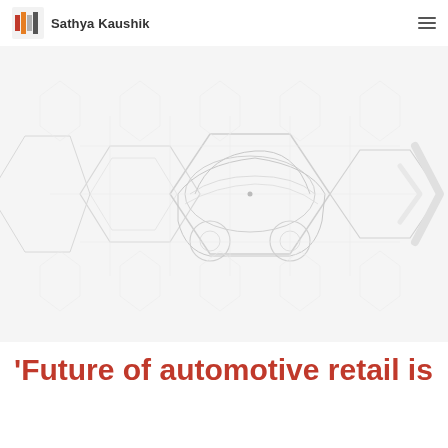Sathya Kaushik
[Figure (illustration): A large hexagonal wireframe/diagram illustration of an automotive vehicle (car) in light gray and white tones on a very light background, used as a hero banner image. The center contains a small dot/icon. On the far right, a partial arrow chevron shape is visible.]
'Future of automotive retail is